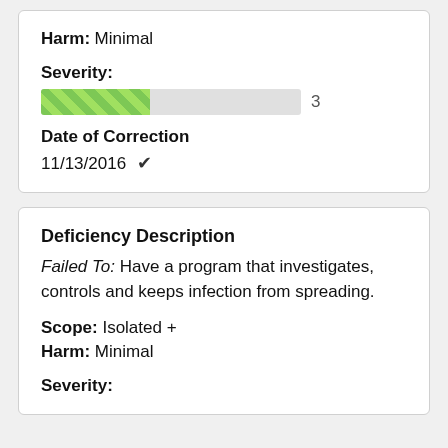Harm: Minimal
Severity:
[Figure (other): Severity progress bar, approximately 3 out of 7, shown with green diagonal striped fill. Number 3 shown to the right.]
Date of Correction
11/13/2016 ✓
Deficiency Description
Failed To: Have a program that investigates, controls and keeps infection from spreading.
Scope: Isolated +
Harm: Minimal
Severity: